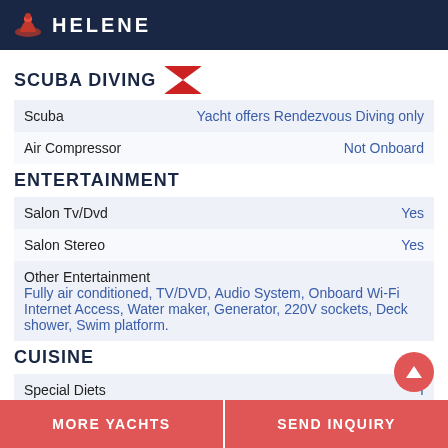HELENE
SCUBA DIVING
| Scuba | Yacht offers Rendezvous Diving only |
| Air Compressor | Not Onboard |
ENTERTAINMENT
| Salon Tv/Dvd | Yes |
| Salon Stereo | Yes |
| Other Entertainment
Fully air conditioned, TV/DVD, Audio System, Onboard Wi-Fi Internet Access, Water maker, Generator, 220V sockets, Deck shower, Swim platform. |  |
CUISINE
| Special Diets | I... |
MORE YACHTS | SEND INQUIRY